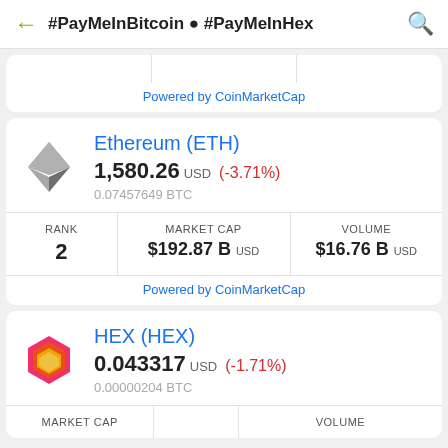#PayMeInBitcoin ● #PayMeInHex
Powered by CoinMarketCap
Ethereum (ETH)
1,580.26 USD (-3.71%)
0.07457649 BTC
| RANK | MARKET CAP | VOLUME |
| --- | --- | --- |
| 2 | $192.87 B USD | $16.76 B USD |
Powered by CoinMarketCap
HEX (HEX)
0.043317 USD (-1.71%)
0.00000204 BTC
MARKET CAP   VOLUME